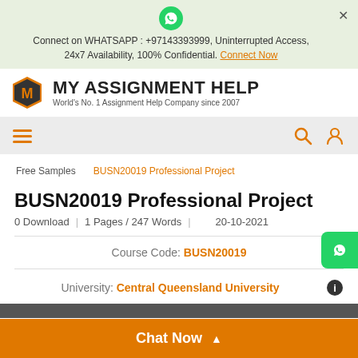Connect on WHATSAPP : +97143393999, Uninterrupted Access, 24x7 Availability, 100% Confidential. Connect Now
[Figure (logo): My Assignment Help logo with hexagon M icon and brand name]
[Figure (other): Navigation bar with hamburger menu and search/user icons]
Free Samples  BUSN20019 Professional Project
BUSN20019 Professional Project
0 Download | 1 Pages / 247 Words | 20-10-2021
Course Code: BUSN20019
University: Central Queensland University
Chat Now